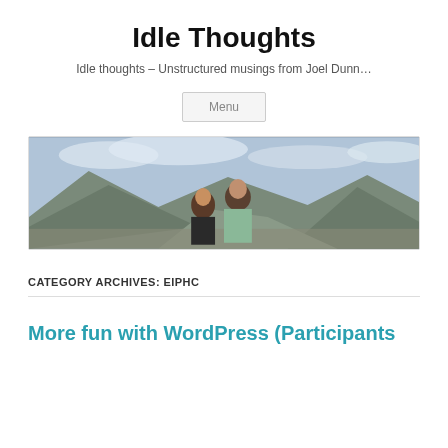Idle Thoughts
Idle thoughts – Unstructured musings from Joel Dunn…
Menu
[Figure (photo): Two people standing on a mountain summit with rocky peaks and cloudy sky in the background.]
CATEGORY ARCHIVES: EIPHC
More fun with WordPress (Participants